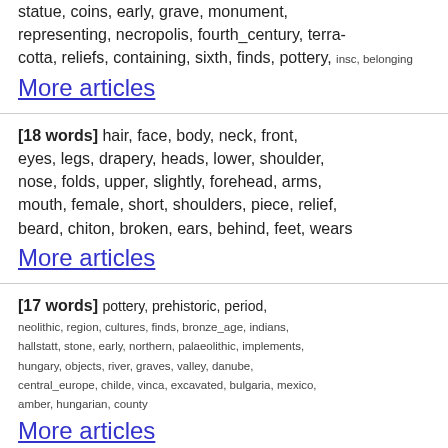statue, coins, early, grave, monument, representing, necropolis, fourth_century, terra-cotta, reliefs, containing, sixth, finds, pottery,
insc, belonging
More articles
[18 words] hair, face, body, neck, front, eyes, legs, drapery, heads, lower, shoulder, nose, folds, upper, slightly, forehead, arms, mouth, female, short, shoulders, piece, relief, beard, chiton, broken, ears, behind, feet, wears
More articles
[17 words] pottery, prehistoric, period, neolithic, region, cultures, finds, bronze_age, indians, hallstatt, stone, early, northern, palaeolithic, implements, hungary, objects, river, graves, valley, danube, central_europe, childe, vinca, excavated, bulgaria, mexico, amber, hungarian, county
More articles
[17 words] caesar, gaul, gallic, gauls, britain, romans, rhine, germans, holmes, ariovistus, celtic, camp, battle, hannibal, rhone, alps, helvetians, tribes, epirus, baltic, german, staffel, ferrara, pharsalus